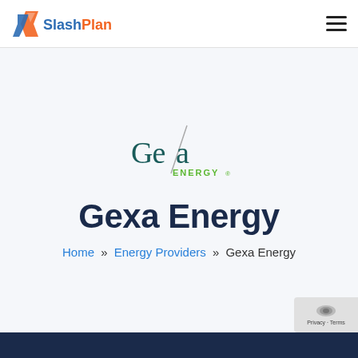[Figure (logo): SlashPlan logo: orange and blue icon with slash shape, text 'Slash' in blue and 'Plan' in orange]
[Figure (logo): Gexa Energy logo: stylized 'Gexa' wordmark in dark teal with a diagonal slash through the 'x', and 'ENERGY' in green below]
Gexa Energy
Home » Energy Providers » Gexa Energy